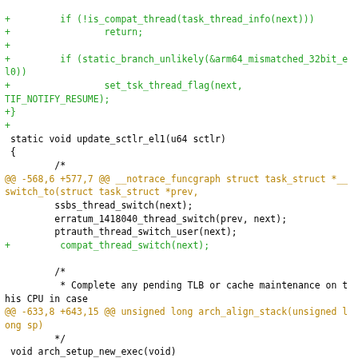[Figure (screenshot): A code diff screenshot showing Linux kernel source changes with green added lines, orange context/hunk headers, red removed lines, and black unchanged lines in monospace font.]